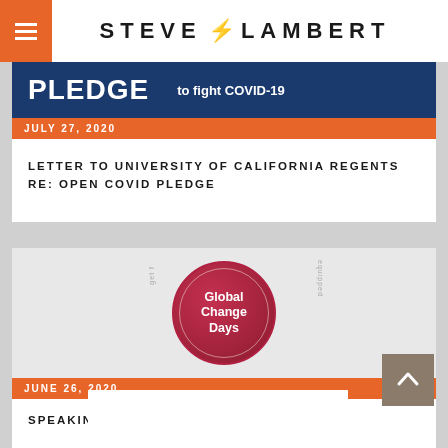STEVE LAMBERT
[Figure (illustration): Dark blue banner with PLEDGE text and 'to fight COVID-19' text]
JULY 27, 2020
LETTER TO UNIVERSITY OF CALIFORNIA REGENTS RE: OPEN COVID PLEDGE
[Figure (logo): Global Change Days circular logo in red/crimson with white text]
JUNE 26, 2020
SPEAKING AT GLOBAL CHANGE DAYS